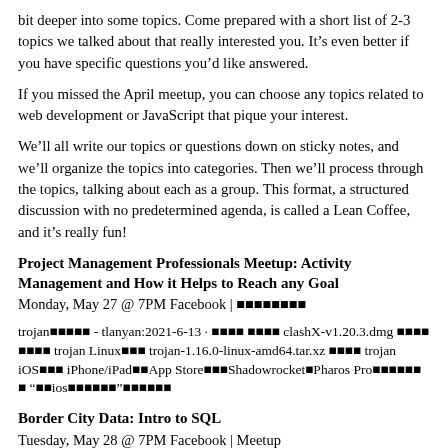bit deeper into some topics. Come prepared with a short list of 2-3 topics we talked about that really interested you. It’s even better if you have specific questions you’d like answered.
If you missed the April meetup, you can choose any topics related to web development or JavaScript that pique your interest.
We’ll all write our topics or questions down on sticky notes, and we’ll organize the topics into categories. Then we’ll process through the topics, talking about each as a group. This format, a structured discussion with no predetermined agenda, is called a Lean Coffee, and it’s really fun!
Project Management Professionals Meetup: Activity Management and How it Helps to Reach any Goal
Monday, May 27 @ 7PM Facebook | ■■■■■■■■
trojan■■■■■ - tlanyan:2021-6-13 · ■■■■ ■■■■ clashX-v1.20.3.dmg ■■■■ ■■■■ trojan Linux■■■ trojan-1.16.0-linux-amd64.tar.xz ■■■■ trojan iOS■■■ iPhone/iPad■■App Store■■■ShadowrocketPharos Pro■■■■■■ ■ “■■ios■■■■■■”■■■■■■
Border City Data: Intro to SQL
Tuesday, May 28 @ 7PM Facebook | Meetup
A practical introduction to SQL. The Structured Query Language is one of the most...